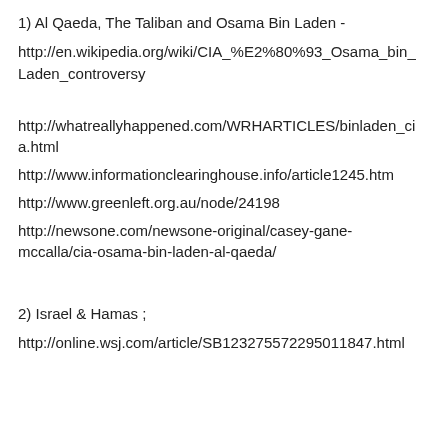1) Al Qaeda, The Taliban and Osama Bin Laden -
http://en.wikipedia.org/wiki/CIA_%E2%80%93_Osama_bin_Laden_controversy
http://whatreallyhappened.com/WRHARTICLES/binladen_cia.html
http://www.informationclearinghouse.info/article1245.htm
http://www.greenleft.org.au/node/24198
http://newsone.com/newsone-original/casey-gane-mccalla/cia-osama-bin-laden-al-qaeda/
2) Israel & Hamas ;
http://online.wsj.com/article/SB123275572295011847.html